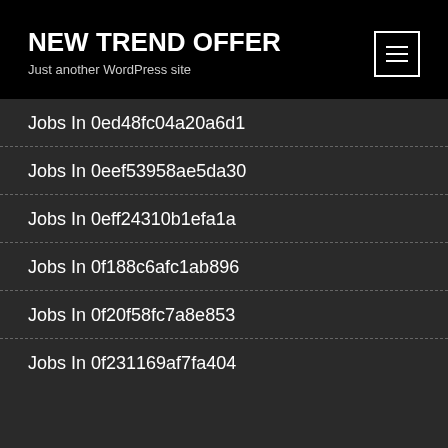NEW TREND OFFER
Just another WordPress site
Jobs In 0ed48fc04a20a6d1
Jobs In 0eef53958ae5da30
Jobs In 0eff24310b1efa1a
Jobs In 0f188c6afc1ab896
Jobs In 0f20f58fc7a8e853
Jobs In 0f231169af7fa404